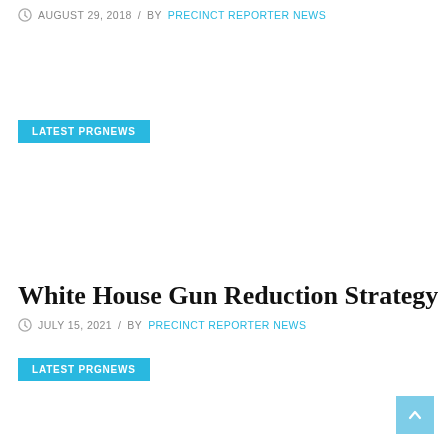AUGUST 29, 2018 / BY PRECINCT REPORTER NEWS
LATEST PRGNEWS
White House Gun Reduction Strategy
JULY 15, 2021 / BY PRECINCT REPORTER NEWS
LATEST PRGNEWS